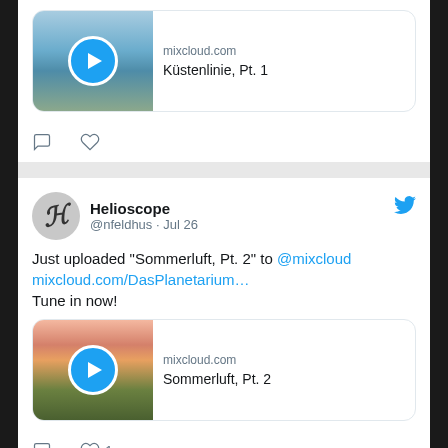[Figure (screenshot): Partial top tweet showing a media card for mixcloud.com with image of coastline/sea, play button, title 'Küstenlinie, Pt. 1', and action icons (comment, heart)]
Helioscope @nfeldhus · Jul 26
Just uploaded "Sommerluft, Pt. 2" to @mixcloud mixcloud.com/DasPlanetarium… Tune in now!
[Figure (screenshot): Media card for mixcloud.com with sunset/landscape image, play button, title 'Sommerluft, Pt. 2']
1 like
Helioscope @nfeldhus · Jul 14